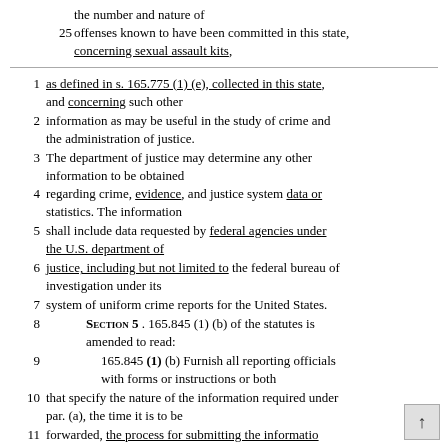the number and nature of
25 offenses known to have been committed in this state, concerning sexual assault kits,
1 as defined in s. 165.775 (1) (e), collected in this state, and concerning such other
2 information as may be useful in the study of crime and the administration of justice.
3 The department of justice may determine any other information to be obtained
4 regarding crime, evidence, and justice system data or statistics. The information
5 shall include data requested by federal agencies under the U.S. department of
6 justice, including but not limited to the federal bureau of investigation under its
7 system of uniform crime reports for the United States.
8 SECTION 5 . 165.845 (1) (b) of the statutes is amended to read:
9 165.845 (1) (b) Furnish all reporting officials with forms or instructions or both
10 that specify the nature of the information required under par. (a), the time it is to be
11 forwarded, the process for submitting the information the method of classifying and